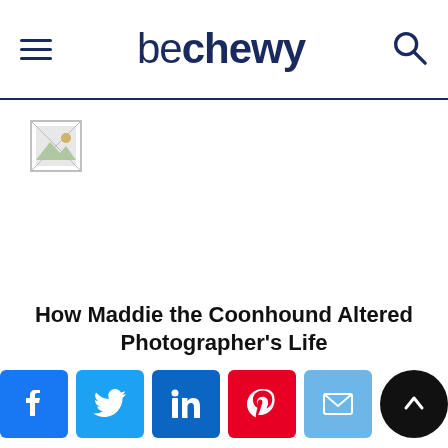be chewy
[Figure (photo): Small broken image placeholder icon in top left area below header]
How Maddie the Coonhound Altered Photographer's Life
[Figure (infographic): Social sharing bar with Facebook, Twitter, LinkedIn, Pinterest, Email buttons and a scroll-to-top button]